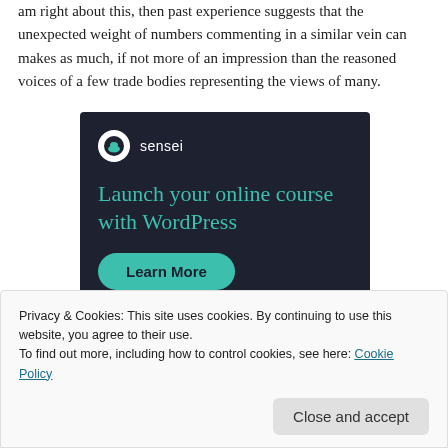am right about this, then past experience suggests that the unexpected weight of numbers commenting in a similar vein can makes as much, if not more of an impression than the reasoned voices of a few trade bodies representing the views of many.
[Figure (illustration): Sensei advertisement on dark navy background. Shows Sensei logo (tree icon in white circle) with brand name, headline 'Launch your online course with WordPress' in teal, and a 'Learn More' teal rounded button.]
Privacy & Cookies: This site uses cookies. By continuing to use this website, you agree to their use.
To find out more, including how to control cookies, see here: Cookie Policy
Close and accept